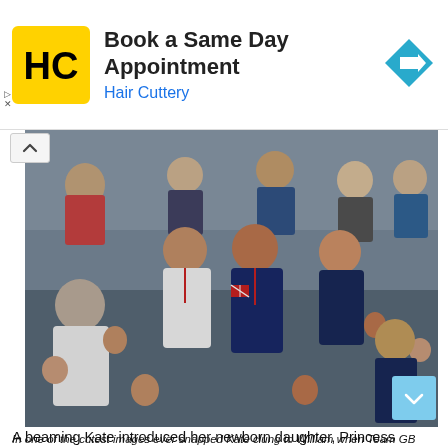[Figure (other): Hair Cuttery advertisement banner with yellow HC logo, text 'Book a Same Day Appointment', 'Hair Cuttery', and a blue diamond-shaped arrow icon]
[Figure (photo): Kate Middleton clinging to Prince William as they celebrate with crowd at the 2012 London Olympics team sprint cycling event, with Prince Harry visible on the right]
In one of the cutest images ever snapped Kate clung to William when Team GB took home the gold medal in the team sprint contest during the 2012 London Olympics Photo C GETTY
A beaming Kate introduced her newborn daughter, Princess